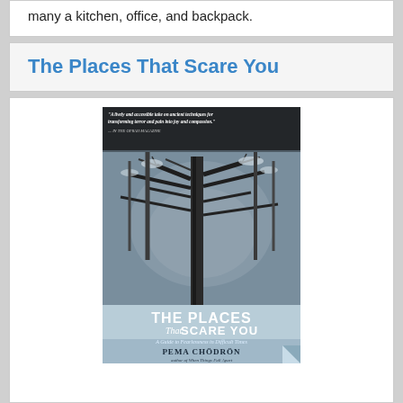many a kitchen, office, and backpack.
The Places That Scare You
[Figure (photo): Book cover of 'The Places That Scare You: A Guide to Fearlessness in Difficult Times' by Pema Chodron. Shows winter trees in a snowy forest scene. A quote at top reads: 'A lively and accessible take on ancient techniques for transforming terror and pain into joy and compassion.' — IN THE OPRAH MAGAZINE]